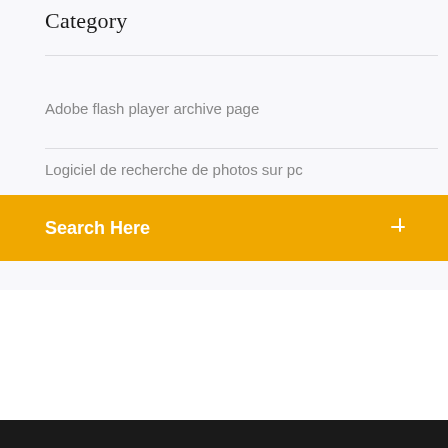Category
Adobe flash player archive page
Logiciel de recherche de photos sur pc
Search Here